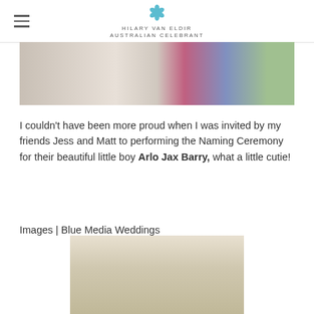HILARY VAN ELDIR — Celebrant
[Figure (photo): Top cropped photo of a person holding a baby, colorful embroidered fabric visible]
I couldn't have been more proud when I was invited by my friends Jess and Matt to performing the Naming Ceremony for their beautiful little boy Arlo Jax Barry, what a little cutie!
Images | Blue Media Weddings
[Figure (photo): Bottom partial photo showing a beige/cream surface, possibly a sandy or fabric background]